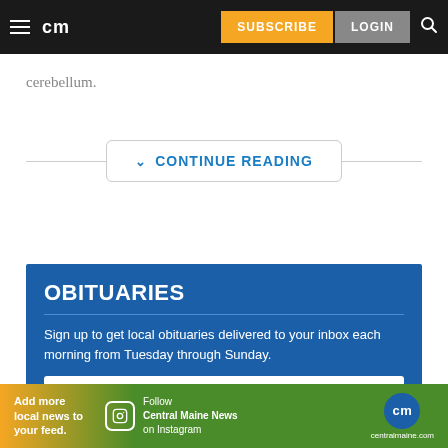cm | SUBSCRIBE | LOGIN
cerebellum.
CONTINUE READING
OBITUARIES
Sign up to get local obituaries delivered to your inbox each morning from Tuesday through Sunday.
Enter your email
[Figure (infographic): Bottom banner ad: Add more local news to your feed. Follow Central Maine News on Instagram. cm centralmaine.com]